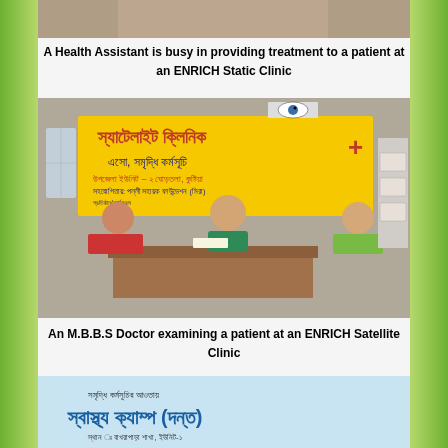[Figure (photo): Top portion of a photo showing a patient at an ENRICH Static Clinic (cropped at top)]
A Health Assistant is busy in providing treatment to a patient at an ENRICH Static Clinic
[Figure (photo): An M.B.B.S Doctor (woman in teal) sitting at a wooden desk examining a patient. A yellow banner in Bengali reads 'Satellite Clinic - ENRICH Program' is visible behind. Two patients are seated across the desk.]
An M.B.B.S Doctor examining a patient at an ENRICH Satellite Clinic
[Figure (photo): Partially visible sign/banner in Bengali about a health camp (স্বাস্থ্য ক্যাম্প) under the Samridhi Program, Bakhrapara branch, Unit-1]